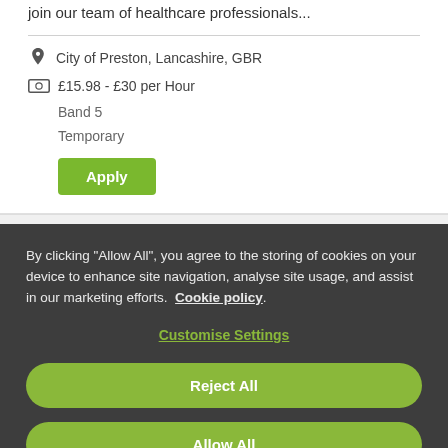join our team of healthcare professionals...
City of Preston, Lancashire, GBR
£15.98 - £30 per Hour
Band 5
Temporary
Apply
By clicking "Allow All", you agree to the storing of cookies on your device to enhance site navigation, analyse site usage, and assist in our marketing efforts. Cookie policy.
Customise Settings
Reject All
Allow All